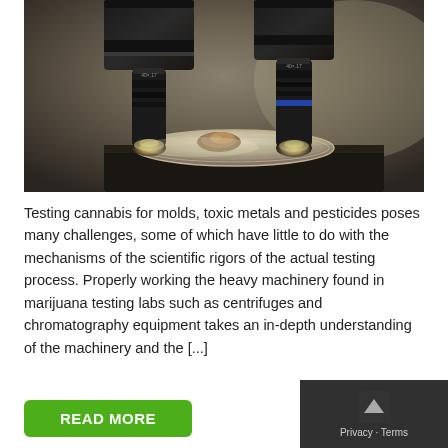[Figure (photo): Close-up photo of microscope objective lenses positioned above a metal foil dish containing a cannabis sample on a laboratory stage.]
Testing cannabis for molds, toxic metals and pesticides poses many challenges, some of which have little to do with the mechanisms of the scientific rigors of the actual testing process. Properly working the heavy machinery found in marijuana testing labs such as centrifuges and chromatography equipment takes an in-depth understanding of the machinery and the [...]
READ MORE